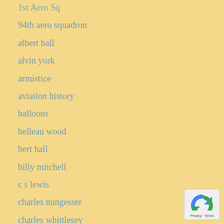1st Aero Sq
94th aero squadron
albert ball
alvin york
armistice
aviation history
balloons
belleau wood
bert hall
billy mitchell
c s lewis
charles nungesser
charles whittlesey
cher ami